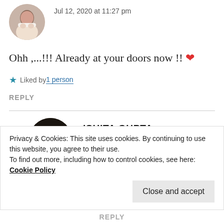Jul 12, 2020 at 11:27 pm
Ohh ,...!!! Already at your doors now !! ❤
Liked by 1 person
REPLY
ISHITA GUPTA
Jul 12, 2020 at 11:27 pm
Privacy & Cookies: This site uses cookies. By continuing to use this website, you agree to their use.
To find out more, including how to control cookies, see here: Cookie Policy
Close and accept
REPLY